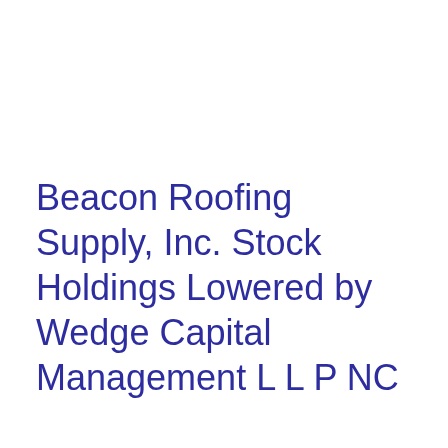Beacon Roofing Supply, Inc. Stock Holdings Lowered by Wedge Capital Management L L P NC